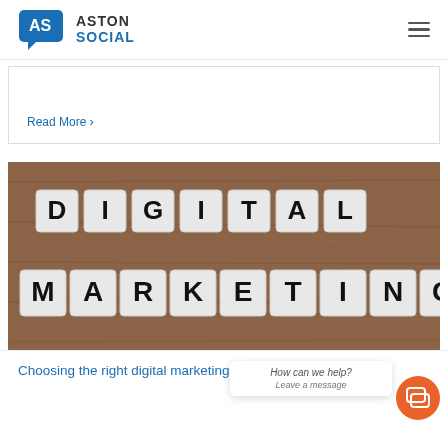ASTON SOCIAL
Read More >
[Figure (photo): Scrabble tiles spelling DIGITAL MARKETING on a wooden surface]
How can we help? Leave a message
Choosing the right digital marketing